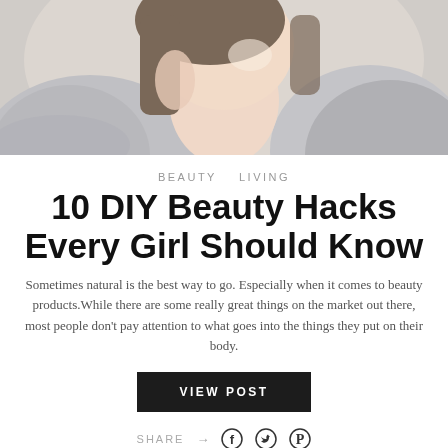[Figure (photo): Woman with brown hair wearing a grey knit sweater, posed with hand near face]
BEAUTY   LIVING
10 DIY Beauty Hacks Every Girl Should Know
Sometimes natural is the best way to go. Especially when it comes to beauty products.While there are some really great things on the market out there, most people don't pay attention to what goes into the things they put on their body.
VIEW POST
SHARE →